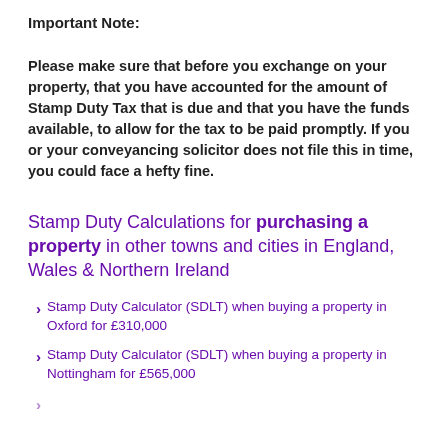Important Note:
Please make sure that before you exchange on your property, that you have accounted for the amount of Stamp Duty Tax that is due and that you have the funds available, to allow for the tax to be paid promptly. If you or your conveyancing solicitor does not file this in time, you could face a hefty fine.
Stamp Duty Calculations for purchasing a property in other towns and cities in England, Wales & Northern Ireland
Stamp Duty Calculator (SDLT) when buying a property in Oxford for £310,000
Stamp Duty Calculator (SDLT) when buying a property in Nottingham for £565,000